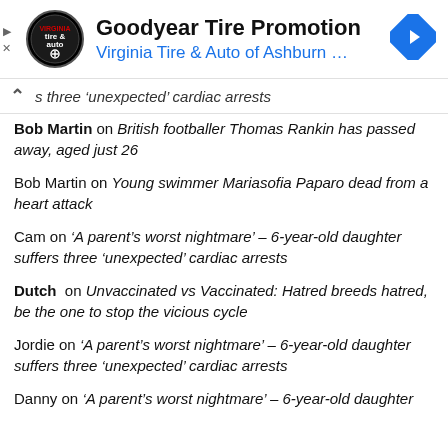[Figure (other): Goodyear Tire Promotion advertisement banner with Virginia Tire & Auto of Ashburn logo and navigation arrow icon]
s three ‘unexpected’ cardiac arrests
Bob Martin on British footballer Thomas Rankin has passed away, aged just 26
Bob Martin on Young swimmer Mariasofia Paparo dead from a heart attack
Cam on ‘A parent’s worst nightmare’ – 6-year-old daughter suffers three ‘unexpected’ cardiac arrests
Dutch on Unvaccinated vs Vaccinated: Hatred breeds hatred, be the one to stop the vicious cycle
Jordie on ‘A parent’s worst nightmare’ – 6-year-old daughter suffers three ‘unexpected’ cardiac arrests
Danny on ‘A parent’s worst nightmare’ – 6-year-old daughter suffers three ‘unexpected’ cardiac arrests